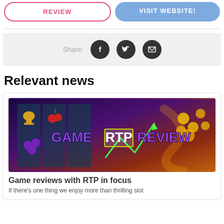[Figure (illustration): Two buttons: REVIEW (outlined pink/red) and VISIT WEBSITE! (blue filled)]
[Figure (infographic): Share bar with Facebook, Twitter, and email icon buttons on grey background]
Relevant news
[Figure (illustration): Casino slot machine themed image with text GAME RTP REVIEW overlaid in purple and yellow]
Game reviews with RTP in focus
If there's one thing we enjoy more than thrilling slot